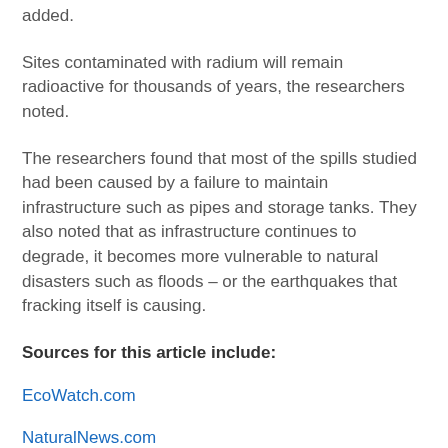added.
Sites contaminated with radium will remain radioactive for thousands of years, the researchers noted.
The researchers found that most of the spills studied had been caused by a failure to maintain infrastructure such as pipes and storage tanks. They also noted that as infrastructure continues to degrade, it becomes more vulnerable to natural disasters such as floods – or the earthquakes that fracking itself is causing.
Sources for this article include:
EcoWatch.com
NaturalNews.com